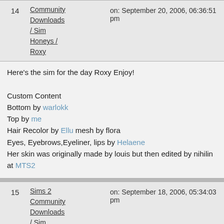14  Sims 2 Community Downloads / Sim Honeys / Roxy  on: September 20, 2006, 06:36:51 pm
Here's the sim for the day Roxy Enjoy!

Custom Content
Bottom by warlokk
Top by me
Hair Recolor by Ellu mesh by flora
Eyes, Eyebrows,Eyeliner, lips by Helaene
Her skin was originally made by louis but then edited by nihilin at MTS2
15  Sims 2 Community Downloads / Sim Honeys / Ashley  on: September 18, 2006, 05:34:03 pm
Hey all this my first trip back to the community downloads in a long while and i come with my first sim in a long while. she is a warm up for later sims so hopefully they will get better as i post. Oh and her name is Ashley.

Custom Content